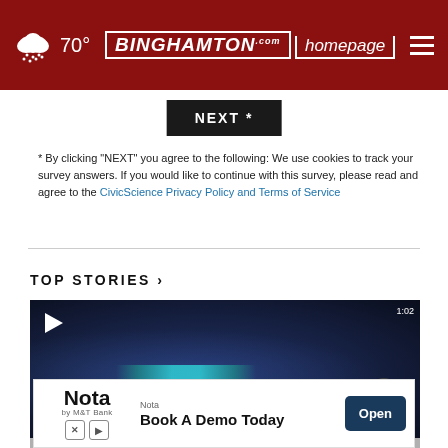70° BINGHAMTON homepage.com
NEXT *
* By clicking "NEXT" you agree to the following: We use cookies to track your survey answers. If you would like to continue with this survey, please read and agree to the CivicScience Privacy Policy and Terms of Service
TOP STORIES ›
[Figure (screenshot): Dark nighttime video thumbnail showing police car with blue lights, POLICE text visible, with play button overlay in top left corner]
[Figure (screenshot): Advertisement banner for Nota by M&T Bank: 'Book A Demo Today' with Open button]